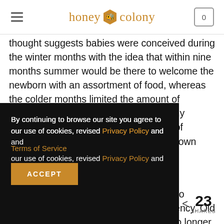honey colony
thought suggests babies were conceived during the winter months with the idea that within nine months summer would be there to welcome the newborn with an assortment of food, whereas the colder months limited the amount of resources available to promote a healthy newborn and provide a wide selection of nutrients for breast-feeding and mom’s own health. Oddly enough,
ue to ficiency. Old e no longer m our
[Figure (other): Cookie consent overlay with text: By continuing to browse our site you agree to our use of cookies, revised Privacy Policy and Terms of Service. With an ACCEPT button.]
23 SHARES